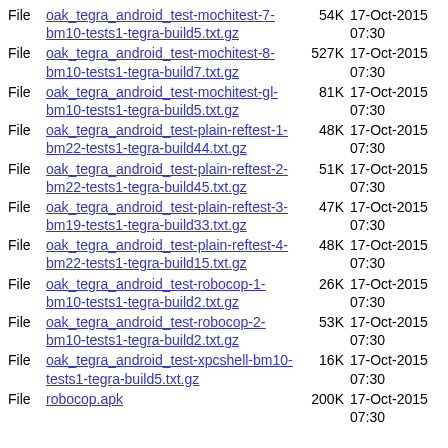File  oak_tegra_android_test-mochitest-7-bm10-tests1-tegra-build5.txt.gz  54K  17-Oct-2015 07:30
File  oak_tegra_android_test-mochitest-8-bm10-tests1-tegra-build7.txt.gz  527K  17-Oct-2015 07:30
File  oak_tegra_android_test-mochitest-gl-bm10-tests1-tegra-build5.txt.gz  81K  17-Oct-2015 07:30
File  oak_tegra_android_test-plain-reftest-1-bm22-tests1-tegra-build44.txt.gz  48K  17-Oct-2015 07:30
File  oak_tegra_android_test-plain-reftest-2-bm22-tests1-tegra-build45.txt.gz  51K  17-Oct-2015 07:30
File  oak_tegra_android_test-plain-reftest-3-bm19-tests1-tegra-build33.txt.gz  47K  17-Oct-2015 07:30
File  oak_tegra_android_test-plain-reftest-4-bm22-tests1-tegra-build15.txt.gz  48K  17-Oct-2015 07:30
File  oak_tegra_android_test-robocop-1-bm10-tests1-tegra-build2.txt.gz  26K  17-Oct-2015 07:30
File  oak_tegra_android_test-robocop-2-bm10-tests1-tegra-build2.txt.gz  53K  17-Oct-2015 07:30
File  oak_tegra_android_test-xpcshell-bm10-tests1-tegra-build5.txt.gz  16K  17-Oct-2015 07:30
File  robocop.apk  200K  17-Oct-2015 07:30